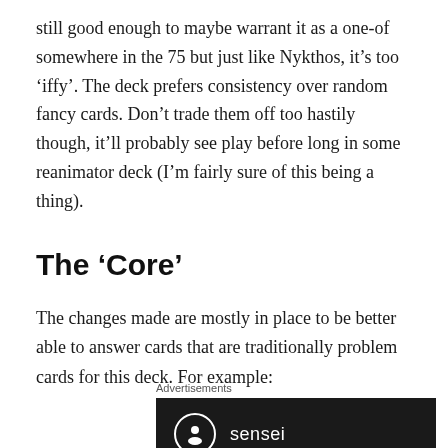still good enough to maybe warrant it as a one-of somewhere in the 75 but just like Nykthos, it's too 'iffy'. The deck prefers consistency over random fancy cards. Don't trade them off too hastily though, it'll probably see play before long in some reanimator deck (I'm fairly sure of this being a thing).
The 'Core'
The changes made are mostly in place to be better able to answer cards that are traditionally problem cards for this deck. For example:
[Figure (logo): Sensei advertisement banner with dark background, circular logo icon and 'sensei' text in white]